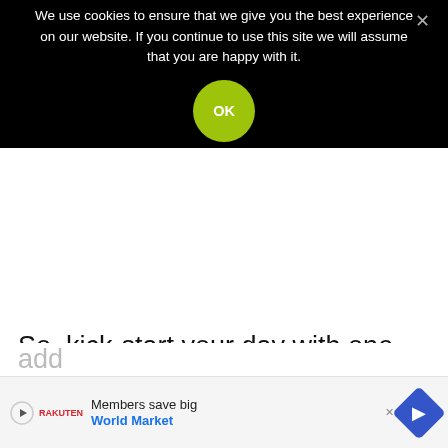We use cookies to ensure that we give you the best experience on our website. If you continue to use this site we will assume that you are happy with it.
So, kick-start your day with one litre of water. And make a point to finish 3–4 bottles of water by evening. You can even add
Members save big World Market